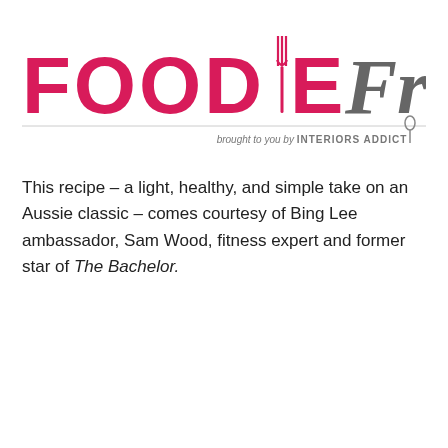[Figure (logo): FOODIE Friday logo with fork icon replacing the 'I', followed by 'brought to you by INTERIORS ADDICT' tagline below]
This recipe – a light, healthy, and simple take on an Aussie classic – comes courtesy of Bing Lee ambassador, Sam Wood, fitness expert and former star of The Bachelor.